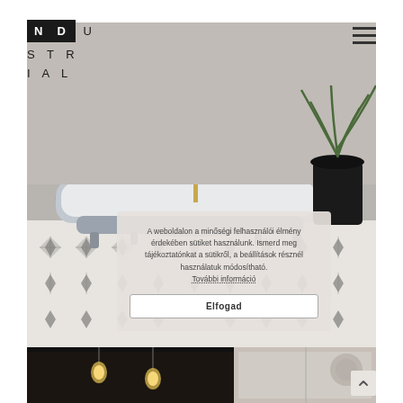[Figure (logo): NDU STRIAL logo — NDU in white on black box, STRIAL in dark letters next to and below]
[Figure (photo): Freestanding vintage bathtub with brass faucet on black and white star-patterned tile floor, with a large plant in dark pot on the right]
A weboldalon a minőségi felhasználói élmény érdekében sütiket használunk. Ismerd meg tájékoztatónkat a sütikről, a beállítások résznél használatuk módosítható. További információ
[Figure (photo): Bottom strip showing two pendant Edison bulb lights in a dark interior setting and a partial view of a bathroom with shower]